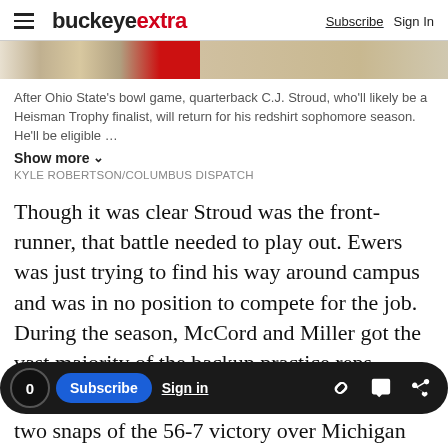buckeyextra | Subscribe  Sign In
[Figure (photo): Partial view of a sports photo, cropped at top of page]
After Ohio State's bowl game, quarterback C.J. Stroud, who'll likely be a Heisman Trophy finalist, will return for his redshirt sophomore season. He'll be eligible ... Show more
KYLE ROBERTSON/COLUMBUS DISPATCH
Though it was clear Stroud was the front-runner, that battle needed to play out. Ewers was just trying to find his way around campus and was in no position to compete for the job. During the season, McCord and Miller got the vast majority of the backup practice reps behind Stroud.
two snaps of the 56-7 victory over Michigan